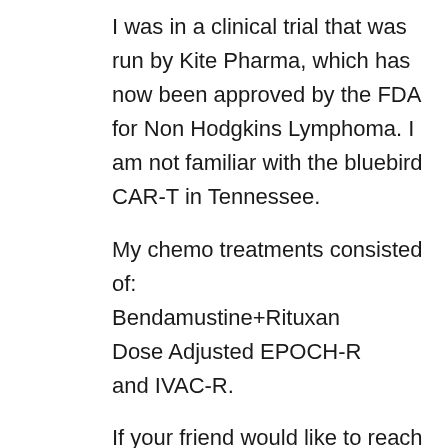I was in a clinical trial that was run by Kite Pharma, which has now been approved by the FDA for Non Hodgkins Lymphoma. I am not familiar with the bluebird CAR-T in Tennessee.
My chemo treatments consisted of:
Bendamustine+Rituxan
Dose Adjusted EPOCH-R
and IVAC-R.
If your friend would like to reach